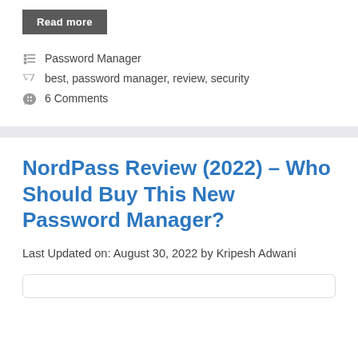Read more
Password Manager
best, password manager, review, security
6 Comments
NordPass Review (2022) – Who Should Buy This New Password Manager?
Last Updated on: August 30, 2022 by Kripesh Adwani